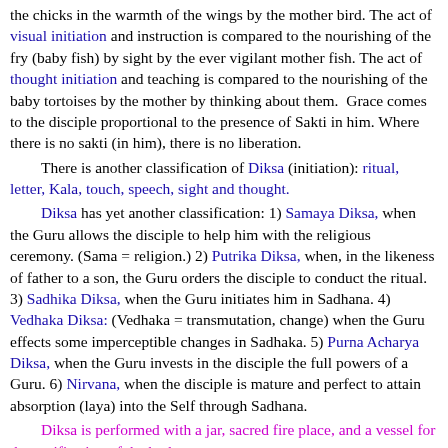the chicks in the warmth of the wings by the mother bird. The act of visual initiation and instruction is compared to the nourishing of the fry (baby fish) by sight by the ever vigilant mother fish. The act of thought initiation and teaching is compared to the nourishing of the baby tortoises by the mother by thinking about them.  Grace comes to the disciple proportional to the presence of Sakti in him. Where there is no sakti (in him), there is no liberation.
There is another classification of Diksa (initiation): ritual, letter, Kala, touch, speech, sight and thought.
Diksa has yet another classification: 1) Samaya Diksa, when the Guru allows the disciple to help him with the religious ceremony. (Sama = religion.) 2) Putrika Diksa, when, in the likeness of father to a son, the Guru orders the disciple to conduct the ritual. 3) Sadhika Diksa, when the Guru initiates him in Sadhana. 4) Vedhaka Diksa: (Vedhaka = transmutation, change) when the Guru effects some imperceptible changes in Sadhaka. 5) Purna Acharya Diksa, when the Guru invests in the disciple the full powers of a Guru. 6) Nirvana, when the disciple is mature and perfect to attain absorption (laya) into the Self through Sadhana.
Diksa is performed with a jar, sacred fire place, and a vessel for the purification of the body.
Varnamayi Diksa involves placement of Sanskrit letters on the body of the disciple and the Guru. Remember that Sanskrit letters form the Bija Mantra and that Kali wears a garland of Sanskrit letters represented by the skulls around her neck. Varna = Sanskrit